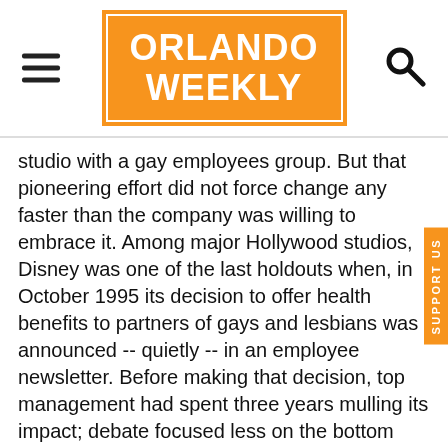Orlando Weekly
studio with a gay employees group. But that pioneering effort did not force change any faster than the company was willing to embrace it. Among major Hollywood studios, Disney was one of the last holdouts when, in October 1995 its decision to offer health benefits to partners of gays and lesbians was announced -- quietly -- in an employee newsletter. Before making that decision, top management had spent three years mulling its impact; debate focused less on the bottom line than on public perception.
Meanwhile, as airlines, beer companies and national gay magazines began to sign on as sponsors of the event and its